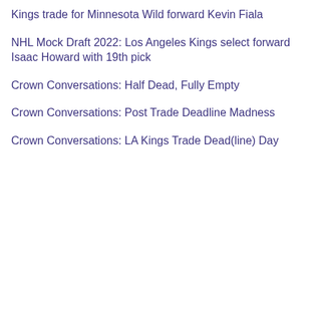Kings trade for Minnesota Wild forward Kevin Fiala
NHL Mock Draft 2022: Los Angeles Kings select forward Isaac Howard with 19th pick
Crown Conversations: Half Dead, Fully Empty
Crown Conversations: Post Trade Deadline Madness
Crown Conversations: LA Kings Trade Dead(line) Day